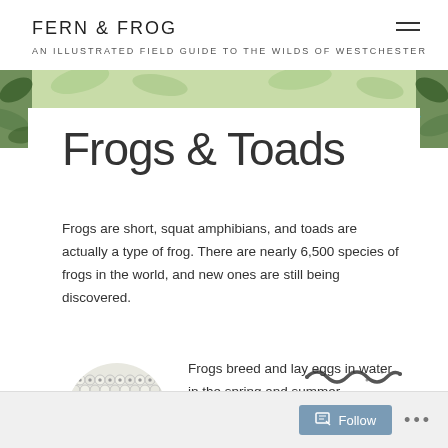FERN & FROG
AN ILLUSTRATED FIELD GUIDE TO THE WILDS OF WESTCHESTER
Frogs & Toads
Frogs are short, squat amphibians, and toads are actually a type of frog. There are nearly 6,500 species of frogs in the world, and new ones are still being discovered.
[Figure (illustration): Cluster of frog eggs — small round eggs packed together in a mass]
[Figure (illustration): Squiggly line illustration representing a snake or tadpole trail]
Frogs breed and lay eggs in water in the spring and summer, depending on the species. Toad
Follow ...